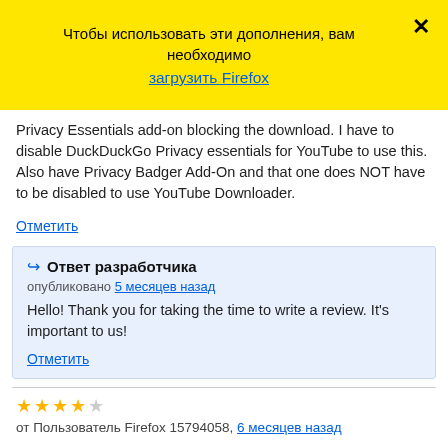Чтобы использовать эти дополнения, вам необходимо загрузить Firefox
Privacy Essentials add-on blocking the download. I have to disable DuckDuckGo Privacy essentials for YouTube to use this. Also have Privacy Badger Add-On and that one does NOT have to be disabled to use YouTube Downloader.
Отметить
Ответ разработчика
опубликовано 5 месяцев назад
Hello! Thank you for taking the time to write a review. It's important to us!
Отметить
★★★★ от Пользователь Firefox 15794058, 6 месяцев назад